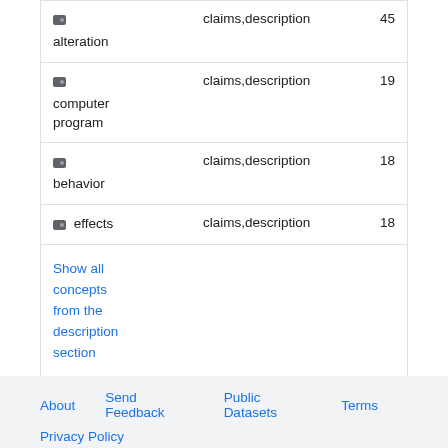| Concept | Source | Count |
| --- | --- | --- |
| alteration | claims,description | 45 |
| computer program | claims,description | 19 |
| behavior | claims,description | 18 |
| effects | claims,description | 18 |
Show all concepts from the description section
Data provided by IFI CLAIMS Patent Services
About   Send Feedback   Public Datasets   Terms   Privacy Policy